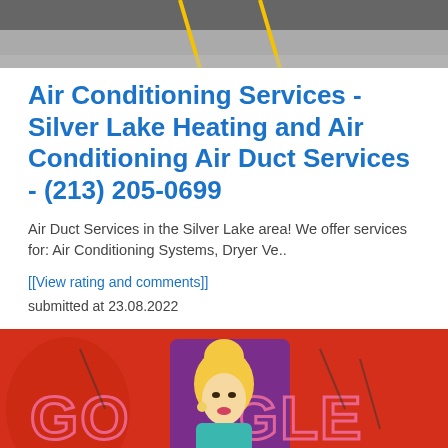[Figure (photo): Top portion of a photo showing a dark surface with yellow lines, likely a road or parking lot]
Air Conditioning Services - Silver Lake Heating and Air Conditioning Air Duct Services - (213) 205-0699
Air Duct Services in the Silver Lake area! We offer services for: Air Conditioning Systems, Dryer Ve..
[[View rating and comments]]
submitted at 23.08.2022
[Figure (illustration): Google Doodle illustration featuring a blonde woman on a red background with the word GOOGLE written in large pink letters]